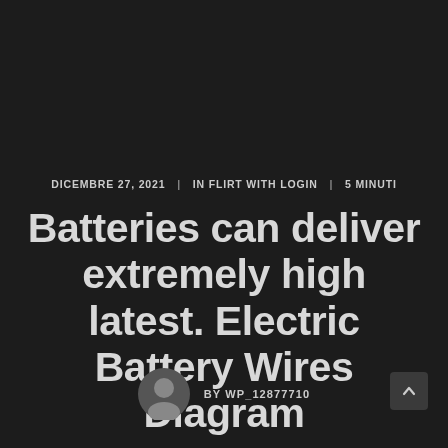DICEMBRE 27, 2021  |  IN FLIRT WITH LOGIN  |  5 MINUTI
Batteries can deliver extremely high latest. Electric Battery Wires Diagram
BY WP_12877710